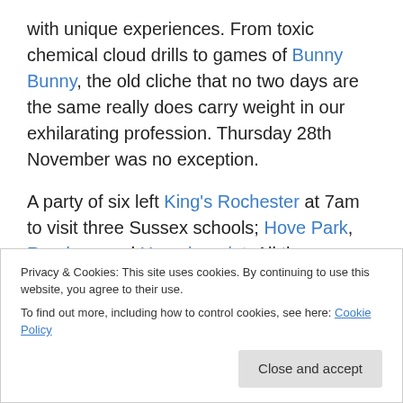with unique experiences. From toxic chemical cloud drills to games of Bunny Bunny, the old cliche that no two days are the same really does carry weight in our exhilarating profession. Thursday 28th November was no exception.
A party of six left King's Rochester at 7am to visit three Sussex schools; Hove Park, Roedean and Hurspierpoint. All three schools had been recommended by Solutions Inc; an Apple re-seller in Hove with whom we are building links. Solutions have already visited King's to complete a WiFi survey and kindly invited us to speak to, and learn
Privacy & Cookies: This site uses cookies. By continuing to use this website, you agree to their use.
To find out more, including how to control cookies, see here: Cookie Policy